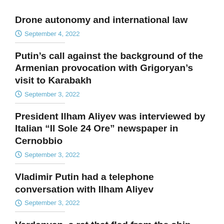Drone autonomy and international law
September 4, 2022
Putin’s call against the background of the Armenian provocation with Grigoryan’s visit to Karabakh
September 3, 2022
President Ilham Aliyev was interviewed by Italian “Il Sole 24 Ore” newspaper in Cernobbio
September 3, 2022
Vladimir Putin had a telephone conversation with Ilham Aliyev
September 3, 2022
Vardanyan, a rat that fled from the ship called Russia